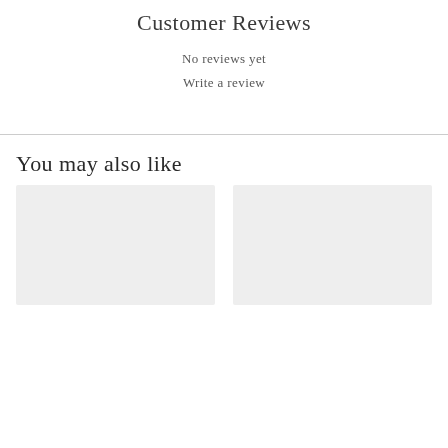Customer Reviews
No reviews yet
Write a review
You may also like
[Figure (photo): Two product image placeholders side by side (light gray rectangles)]